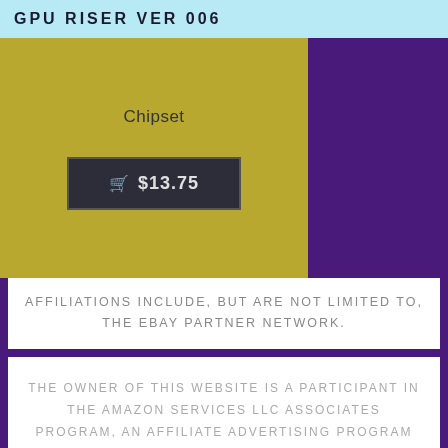GPU RISER VER 006
Chipset
🛒 $13.75
AFFILIATIONS INCLUDE, BUT ARE NOT LIMITED TO, THE EBAY PARTNER NETWORK.
THE OWNER OF THIS WEBSITE IS A PARTICIPANT IN THE AMAZON SERVICES LLC ASSOCIATES PROGRAM, AN AFFILIATE ADVERTISING PROGRAM DESIGNED TO PROVIDE A MEANS FOR SITES TO EARN ADVERTISING FEES BY ADVERTISING AND LINKING TO AMAZON PROPERTIES INCLUDING, BUT NOT LIMITED TO, AMAZON.COM